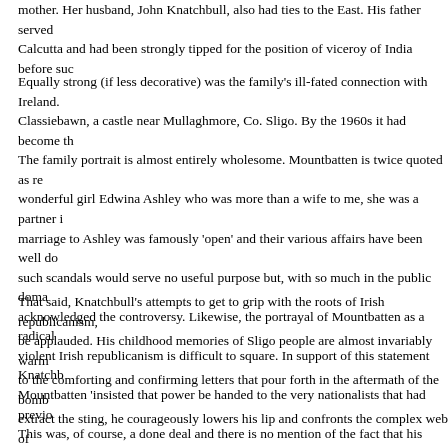mother. Her husband, John Knatchbull, also had ties to the East. His father served in Calcutta and had been strongly tipped for the position of viceroy of India before suc...
Equally strong (if less decorative) was the family's ill-fated connection with Ireland. Classiebawn, a castle near Mullaghmore, Co. Sligo. By the 1960s it had become th... The family portrait is almost entirely wholesome. Mountbatten is twice quoted as re... wonderful girl Edwina Ashley who was more than a wife to me, she was a partner i... marriage to Ashley was famously 'open' and their various affairs have been well do... such scandals would serve no useful purpose but, with so much in the public doma... acknowledged the controversy. Likewise, the portrayal of Mountbatten as a radical violent Irish republicanism is difficult to square. In support of this statement Knatchb... Mountbatten 'insisted that power be handed to the very nationalists that had previo... This was, of course, a done deal and there is no mention of the fact that his grandf... associated with a right-wing plot to overthrow Harold Wilson in the 1970s. Although have mellowed with time, I suspect some affectionate airbrushing.
That said, Knatchbull's attempts to get to grip with the roots of Irish republicanism, be applauded. His childhood memories of Sligo people are almost invariably warm to the comforting and confirming letters that pour forth in the aftermath of the bomb extract the sting, he courageously lowers his lip and confronts the complex web of sections of Irish society. He considers Garda collusion and the even more painful p... prior local knowledge (he is haunted by the memory of a local couple who suddenly local shop the day before the bomb). As with his own post-bomb attitude to Ireland, ...